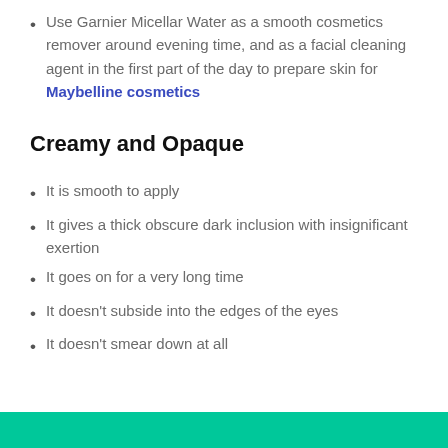Use Garnier Micellar Water as a smooth cosmetics remover around evening time, and as a facial cleaning agent in the first part of the day to prepare skin for Maybelline cosmetics
Creamy and Opaque
It is smooth to apply
It gives a thick obscure dark inclusion with insignificant exertion
It goes on for a very long time
It doesn't subside into the edges of the eyes
It doesn't smear down at all